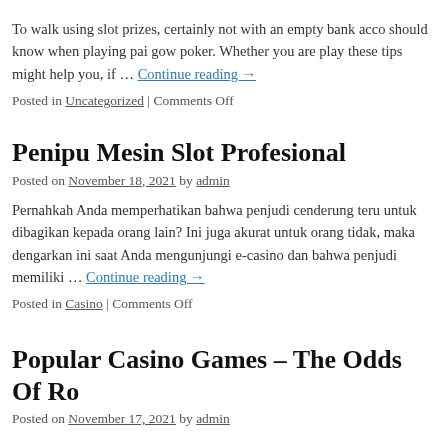To walk using slot prizes, certainly not with an empty bank acco should know when playing pai gow poker. Whether you are play these tips might help you, if … Continue reading →
Posted in Uncategorized | Comments Off
Penipu Mesin Slot Profesional
Posted on November 18, 2021 by admin
Pernahkah Anda memperhatikan bahwa penjudi cenderung teru untuk dibagikan kepada orang lain? Ini juga akurat untuk orang tidak, maka dengarkan ini saat Anda mengunjungi e-casino dan bahwa penjudi memiliki … Continue reading →
Posted in Casino | Comments Off
Popular Casino Games – The Odds Of Ro
Posted on November 17, 2021 by admin